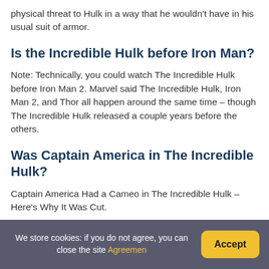physical threat to Hulk in a way that he wouldn't have in his usual suit of armor.
Is the Incredible Hulk before Iron Man?
Note: Technically, you could watch The Incredible Hulk before Iron Man 2. Marvel said The Incredible Hulk, Iron Man 2, and Thor all happen around the same time – though The Incredible Hulk released a couple years before the others.
Was Captain America in The Incredible Hulk?
Captain America Had a Cameo in The Incredible Hulk – Here's Why It Was Cut.
We store cookies: if you do not agree, you can close the site Agreemen  Accept